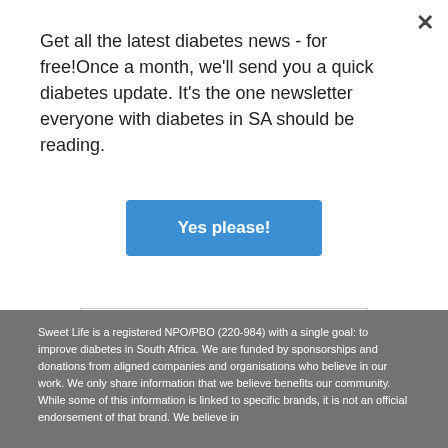Get all the latest diabetes news - for free!Once a month, we'll send you a quick diabetes update. It's the one newsletter everyone with diabetes in SA should be reading.
×
Yes please!
Enter your comment here...
Sweet Life is a registered NPO/PBO (220-984) with a single goal: to improve diabetes in South Africa. We are funded by sponsorships and donations from aligned companies and organisations who believe in our work. We only share information that we believe benefits our community. While some of this information is linked to specific brands, it is not an official endorsement of that brand. We believe in